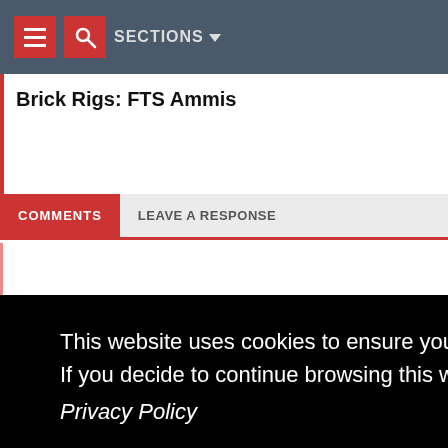≡  🔍  SECTIONS ▾
Brick Rigs: FTS Ammis
COMMENTS  |  LEAVE A RESPONSE
This website uses cookies to ensure you get the best experience on our website. If you decide to continue browsing this website, you automatically agree to our Privacy Policy
directions, or call your salon!
Walk-Ins Available